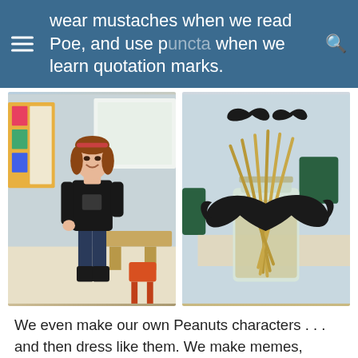wear mustaches when we read Poe, and use puncta when we learn quotation marks.
[Figure (photo): A female teacher standing in a classroom, wearing a black jacket and jeans, smiling at the camera with classroom desks and bulletin boards visible behind her.]
[Figure (photo): A mason jar filled with sticks holding paper mustache props on a classroom desk or table, with colorful classroom decor visible in the background.]
We even make our own Peanuts characters . . . and then dress like them. We make memes, speak in PUNS, and ring a bell when something is IRONIC. I even have a collections of quirky, and